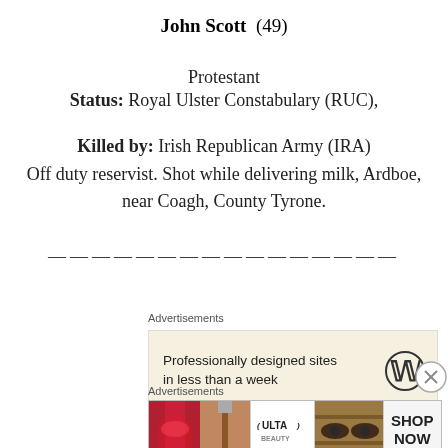John Scott (49)
Protestant
Status: Royal Ulster Constabulary (RUC),
Killed by: Irish Republican Army (IRA)
Off duty reservist. Shot while delivering milk, Ardboe, near Coagh, County Tyrone.
———————————————
Advertisements
[Figure (infographic): WordPress advertisement: Professionally designed sites in less than a week, with WordPress logo]
Advertisements
[Figure (infographic): ULTA beauty advertisement strip showing makeup images with SHOP NOW text]